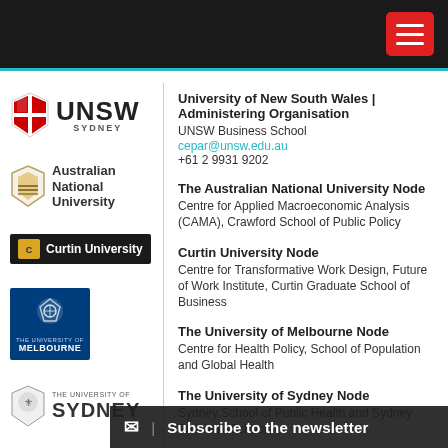[Figure (logo): UNSW Sydney logo with shield and text]
[Figure (logo): Australian National University logo with shield and text]
[Figure (logo): Curtin University logo bar, dark background with gold icon]
[Figure (logo): University of Melbourne logo, blue square with crest]
[Figure (logo): The University of Sydney logo with shield and text]
University of New South Wales | Administering Organisation
UNSW Business School
cepar@unsw.edu.au
+61 2 9931 9202
The Australian National University Node
Centre for Applied Macroeconomic Analysis (CAMA), Crawford School of Public Policy
Curtin University Node
Centre for Transformative Work Design, Future of Work Institute, Curtin Graduate School of Business
The University of Melbourne Node
Centre for Health Policy, School of Population and Global Health
The University of Sydney Node
Sydney School of Public Health and Sydney Business School